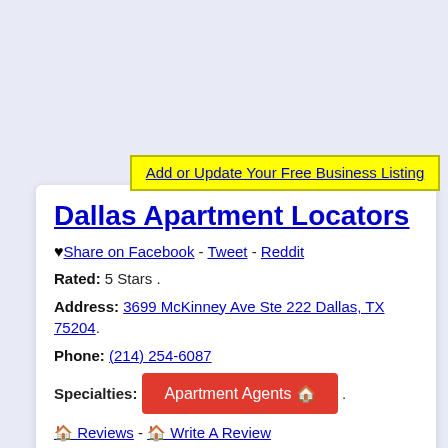Add or Update Your Free Business Listing
Dallas Apartment Locators
♥ Share on Facebook - Tweet - Reddit
Rated: 5 Stars .
Address: 3699 McKinney Ave Ste 222 Dallas, TX 75204.
Phone: (214) 254-6087
Specialties: Apartment Agents 🏠 .
🏠 Reviews - 🏠 Write A Review